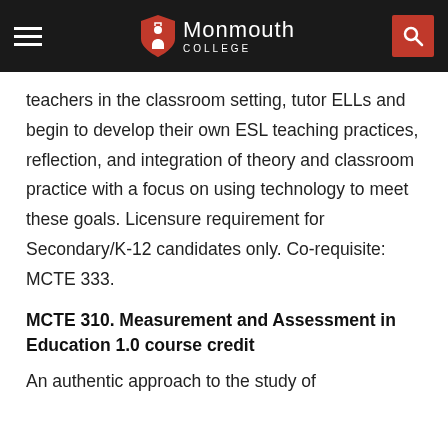Monmouth College
teachers in the classroom setting, tutor ELLs and begin to develop their own ESL teaching practices, reflection, and integration of theory and classroom practice with a focus on using technology to meet these goals. Licensure requirement for Secondary/K-12 candidates only. Co-requisite: MCTE 333.
MCTE 310. Measurement and Assessment in Education 1.0 course credit
An authentic approach to the study of